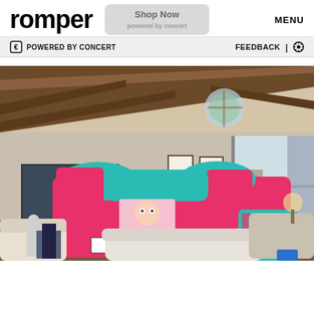romper  MENU
POWERED BY CONCERT   FEEDBACK | ⚙
[Figure (photo): A bouncy castle with pink and teal colors (LOL Surprise themed) set up inside a living room with vaulted wooden beam ceiling, large windows, white couches, and hardwood floors.]